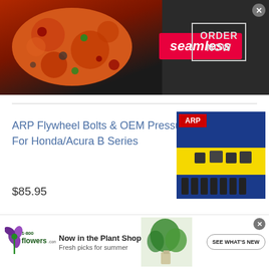[Figure (screenshot): Seamless food delivery advertisement banner with pizza image on left, Seamless logo in red, and ORDER NOW button in white box on dark background]
ARP Flywheel Bolts & OEM Pressure Plate Bolts For Honda/Acura B Series
$85.95
[Figure (photo): Product image of ARP flywheel bolts on blue packaging card]
GM Turbo-Hydramatic TH350/TH400/700R4 2 7/8" Flywheel Steel Dust Cover Chrome
[Figure (photo): Product image of flywheel dust cover]
[Figure (screenshot): 1-800-Flowers advertisement: Now in the Plant Shop, Fresh picks for summer, SEE WHAT'S NEW button]